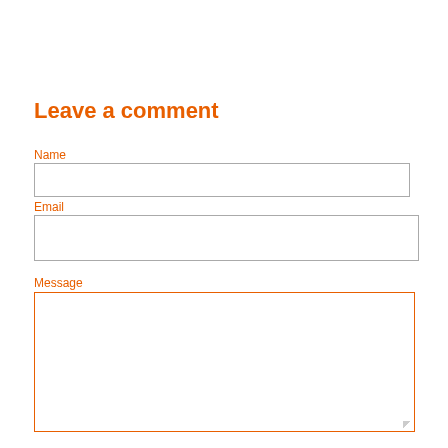Leave a comment
Name
Email
Message